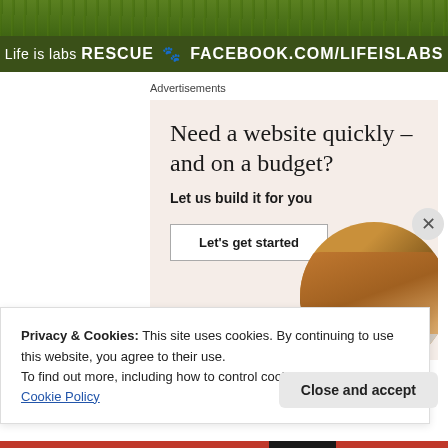[Figure (illustration): Green grass background with dark olive banner bar showing 'Life is labs RESCUE paw-print FACEBOOK.COM/LIFEISLABS' text in white]
Advertisements
[Figure (screenshot): Advertisement on beige/rose background: headline 'Need a website quickly – and on a budget?', subheading 'Let us build it for you', button 'Let's get started', circular photo of person working on laptop]
Privacy & Cookies: This site uses cookies. By continuing to use this website, you agree to their use.
To find out more, including how to control cookies, see here: Cookie Policy
Close and accept